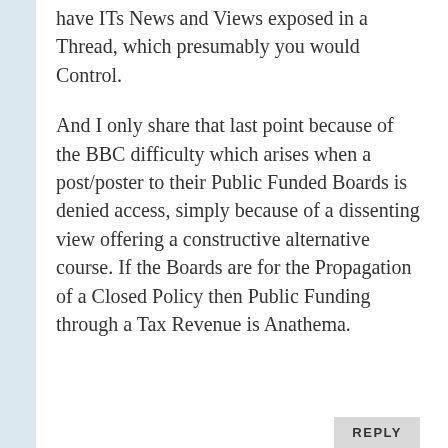have ITs News and Views exposed in a Thread, which presumably you would Control.
And I only share that last point because of the BBC difficulty which arises when a post/poster to their Public Funded Boards is denied access, simply because of a dissenting view offering a constructive alternative course. If the Boards are for the Propagation of a Closed Policy then Public Funding through a Tax Revenue is Anathema.
REPLY